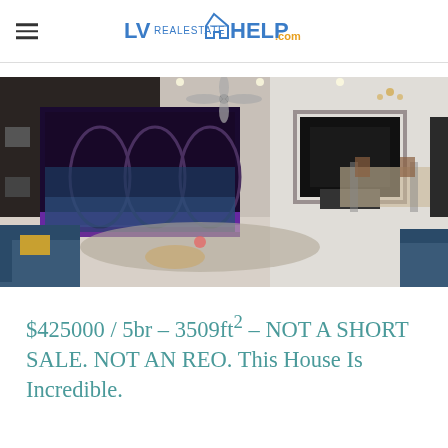LVrealestateHELP.com
[Figure (photo): Interior photo of a modern luxury home with large open living area featuring a ceiling fan, purple-lit large window view of a pool/patio at night, a fireplace with stone surround, wall-mounted TV, dining area with chandelier in background, grey area rug, and blue velvet sofa chairs.]
$425000 / 5br – 3509ft² – NOT A SHORT SALE. NOT AN REO. This House Is Incredible.